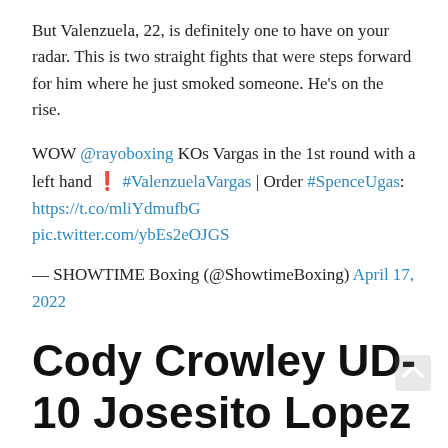But Valenzuela, 22, is definitely one to have on your radar. This is two straight fights that were steps forward for him where he just smoked someone. He’s on the rise.
WOW @rayoboxing KOs Vargas in the 1st round with a left hand ❗ #ValenzuelaVargas | Order #SpenceUgas: https://t.co/mliYdmufbG pic.twitter.com/ybEs2eOJGS
— SHOWTIME Boxing (@ShowtimeBoxing) April 17, 2022
Cody Crowley UD-10 Josesito Lopez
Well, Canada’s Crowley is no one-fight wonder, didn’t have that big upset win over Kudratillo